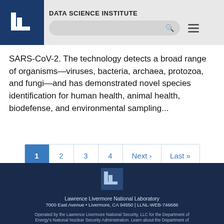DATA SCIENCE INSTITUTE
SARS-CoV-2. The technology detects a broad range of organisms—viruses, bacteria, archaea, protozoa, and fungi—and has demonstrated novel species identification for human health, animal health, biodefense, and environmental sampling...
1  2  3  4  Next ›  Last »
Lawrence Livermore National Laboratory
7000 East Avenue • Livermore, CA 94550 | LLNL-WEB-746686
Operated by the Lawrence Livermore National Security, LLC for the Department of Energy's National Nuclear Security Administration. Learn about the Department of